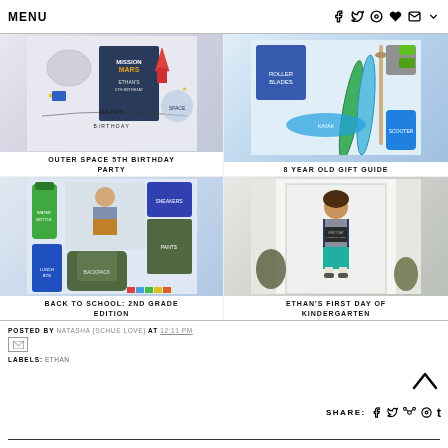MENU
[Figure (photo): Outer space 5th birthday party collage with space-themed decorations, balloons, and party supplies]
OUTER SPACE 5TH BIRTHDAY PARTY
[Figure (photo): 8 year old gift guide collage with rollerblades, surfboard, scooter and other toys]
8 YEAR OLD GIFT GUIDE
[Figure (photo): Back to school 2nd grade edition collage with backpack, clothes, lunch box and school supplies]
BACK TO SCHOOL: 2ND GRADE EDITION
[Figure (photo): Ethan's first day of kindergarten photo, boy standing at door holding chalkboard sign]
ETHAN'S FIRST DAY OF KINDERGARTEN
POSTED BY NATASHA {SCHUE LOVE} AT 12:11 PM
LABELS: ETHAN
SHARE: